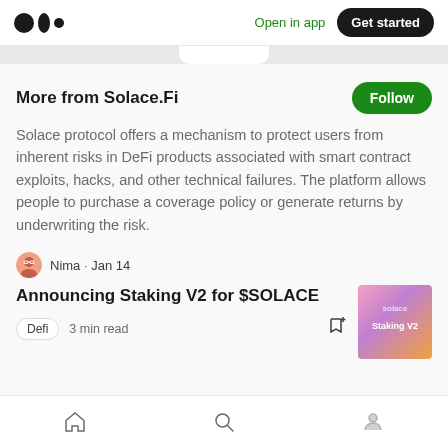Medium logo | Open in app | Get started
More from Solace.Fi
Solace protocol offers a mechanism to protect users from inherent risks in DeFi products associated with smart contract exploits, hacks, and other technical failures. The platform allows people to purchase a coverage policy or generate returns by underwriting the risk.
Nima · Jan 14
Announcing Staking V2 for $SOLACE
Defi  3 min read
[Figure (illustration): Article thumbnail showing gradient pink/orange/purple background with text 'solace' and 'Staking V2']
Home | Search | Profile navigation icons